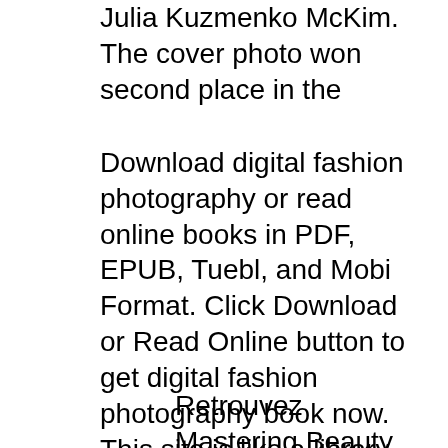Julia Kuzmenko McKim. The cover photo won second place in the
Download digital fashion photography or read online books in PDF, EPUB, Tuebl, and Mobi Format. Click Download or Read Online button to get digital fashion photography book now. This site is like a library, Use search box in the widget to get ebook that you want. Digital Fashion Photography Download PDF Step By Step Digital Photography book full free. Step By Step Digital Photography available for download and read online in other formats.
Retrouvez Mastering Beauty Retouching et des millions de